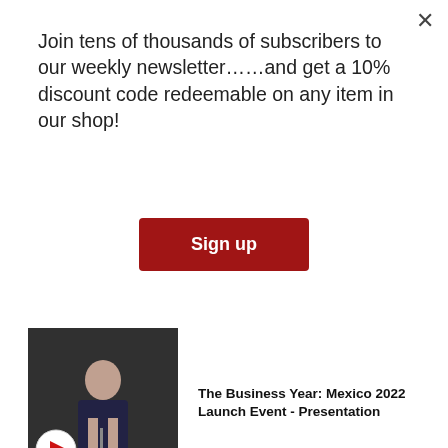Join tens of thousands of subscribers to our weekly newsletter……and get a 10% discount code redeemable on any item in our shop!
Sign up
[Figure (screenshot): Video thumbnail showing a person at a podium with a play button icon overlay]
The Business Year: Mexico 2022 Launch Event - Presentation
You may also be interested in...
Cookie Warning
This website stores data such as cookies to enable site functionality including analytics and personalization. By using this website, you automatically accept that we use cookies.
Learn more
Accept